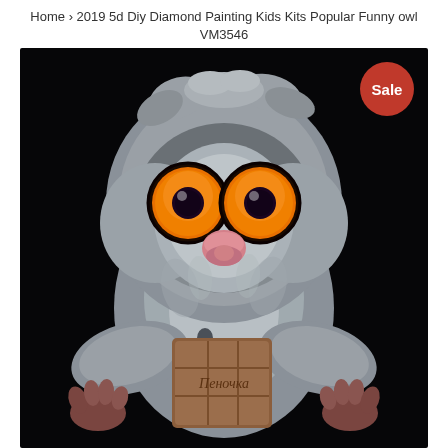Home › 2019 5d Diy Diamond Painting Kids Kits Popular Funny owl VM3546
[Figure (illustration): A cartoon-style illustration of a funny fluffy owl with large orange eyes, a pink beak, and tiny human-like hands. The owl is holding a chocolate bar (labeled in Russian 'Пеночка') against a dark black background. A red 'Sale' badge is visible in the top-right corner of the image.]